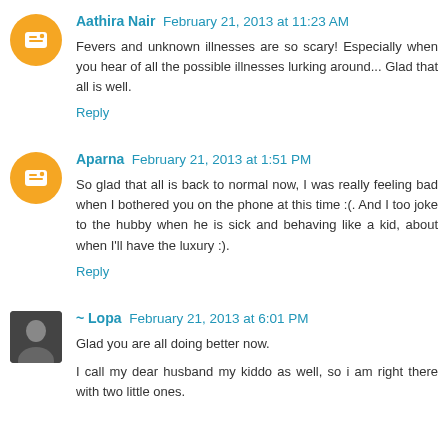Aathira Nair  February 21, 2013 at 11:23 AM
Fevers and unknown illnesses are so scary! Especially when you hear of all the possible illnesses lurking around... Glad that all is well.
Reply
Aparna  February 21, 2013 at 1:51 PM
So glad that all is back to normal now, I was really feeling bad when I bothered you on the phone at this time :(. And I too joke to the hubby when he is sick and behaving like a kid, about when I'll have the luxury :).
Reply
~ Lopa  February 21, 2013 at 6:01 PM
Glad you are all doing better now.
I call my dear husband my kiddo as well, so i am right there with two little ones.